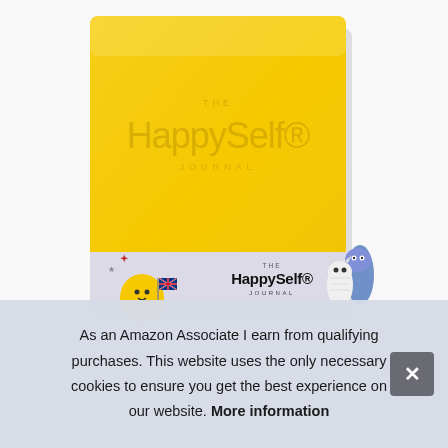[Figure (photo): Photo of The HappySelf Journal – a yellow hardcover journal with embossed branding on the cover, and a light purple/grey band around the bottom showing cartoon characters (a yellow creature with a UK flag, and blue/white monster characters) and the HappySelf Journal logo.]
As an Amazon Associate I earn from qualifying purchases. This website uses the only necessary cookies to ensure you get the best experience on our website. More information